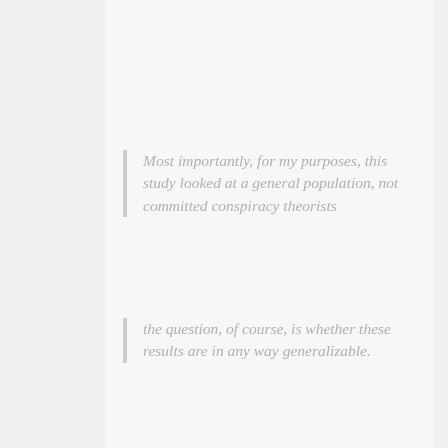Most importantly, for my purposes, this study looked at a general population, not committed conspiracy theorists
the question, of course, is whether these results are in any way generalizable.
The study subjects are all Hungarian, right? My family is from eastern Europe, and I have relatives all over the Americas who GTFO'd post WWII, and lots who still live there.
Most of the Hungarians I've met have a wicked